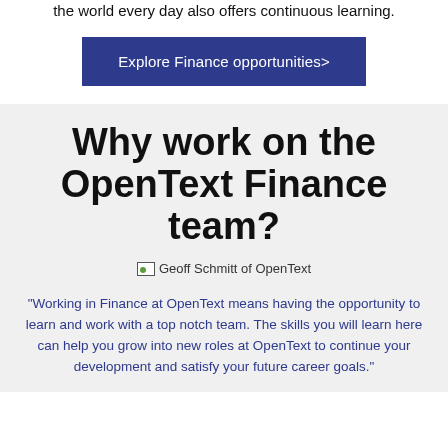the world every day also offers continuous learning.
Explore Finance opportunities>
Why work on the OpenText Finance team?
[Figure (photo): Image placeholder for Geoff Schmitt of OpenText]
Geoff Schmitt of OpenText
"Working in Finance at OpenText means having the opportunity to learn and work with a top notch team. The skills you will learn here can help you grow into new roles at OpenText to continue your development and satisfy your future career goals."